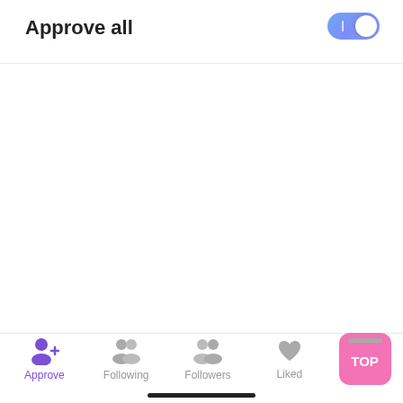Approve all
[Figure (screenshot): iOS-style toggle switch in ON state with blue/purple gradient background and white knob on the right]
[Figure (other): Approve button with blue-to-purple gradient background and white bold text 'Approve']
Approve | Following | Followers | Liked | TOP